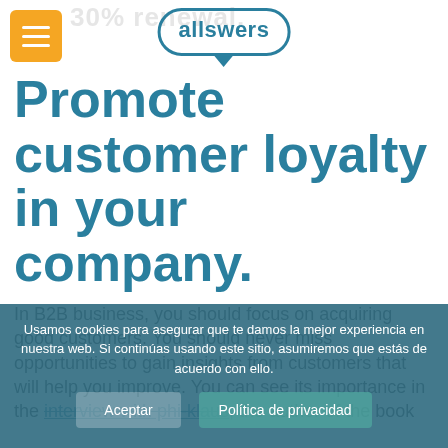allswers | 30% renewal
Promote customer loyalty in your company.
In B2B business, you should focus on acquiring good customers. You should never miss opportunities to gain insights from customers that will help you improve. You can see its importance in the interview with phi-klaus, the author of the book
Usamos cookies para asegurar que te damos la mejor experiencia en nuestra web. Si continúas usando este sitio, asumiremos que estás de acuerdo con ello.
Aceptar | Política de privacidad